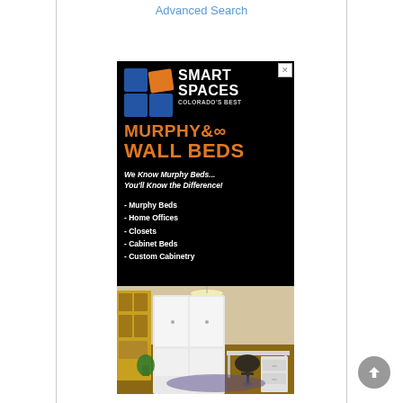Advanced Search
[Figure (photo): Advertisement for Smart Spaces Colorado's Best Murphy & Wall Beds. Black background ad with orange and blue logo, orange text reading MURPHY & WALL BEDS, white italic tagline 'We Know Murphy Beds... You'll Know the Difference!', white bold list items: Murphy Beds, Home Offices, Closets, Cabinet Beds, Custom Cabinetry, and a photo of a home office/murphy bed room setup.]